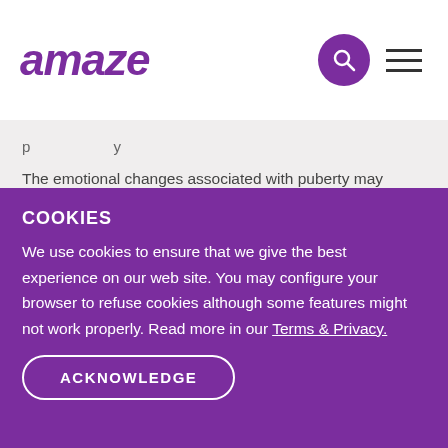amaze
The emotional changes associated with puberty may include having intense mood swings and new sexual and/or romantic feelings. Boys' relationships with their parents, siblings and friends may also change during this time. They may express the desire for more privacy and want to spend more time with their friends. Young men going through puberty may
COOKIES
We use cookies to ensure that we give the best experience on our web site. You may configure your browser to refuse cookies although some features might not work properly. Read more in our Terms & Privacy.
ACKNOWLEDGE